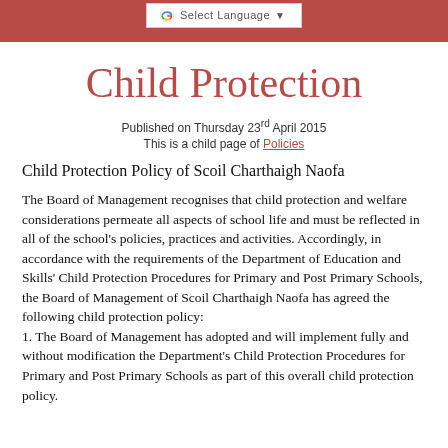Select Language
Child Protection
Published on Thursday 23rd April 2015
This is a child page of Policies
Child Protection Policy of Scoil Charthaigh Naofa
The Board of Management recognises that child protection and welfare considerations permeate all aspects of school life and must be reflected in all of the school's policies, practices and activities. Accordingly, in accordance with the requirements of the Department of Education and Skills' Child Protection Procedures for Primary and Post Primary Schools, the Board of Management of Scoil Charthaigh Naofa has agreed the following child protection policy:
1. The Board of Management has adopted and will implement fully and without modification the Department's Child Protection Procedures for Primary and Post Primary Schools as part of this overall child protection policy.